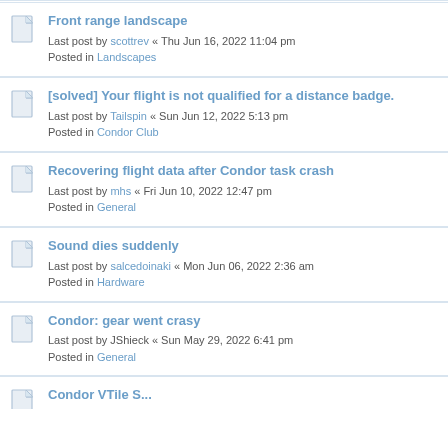Front range landscape
Last post by scottrev « Thu Jun 16, 2022 11:04 pm
Posted in Landscapes
[solved] Your flight is not qualified for a distance badge.
Last post by Tailspin « Sun Jun 12, 2022 5:13 pm
Posted in Condor Club
Recovering flight data after Condor task crash
Last post by mhs « Fri Jun 10, 2022 12:47 pm
Posted in General
Sound dies suddenly
Last post by salcedoinaki « Mon Jun 06, 2022 2:36 am
Posted in Hardware
Condor: gear went crasy
Last post by JShieck « Sun May 29, 2022 6:41 pm
Posted in General
(partial — cut off at bottom)